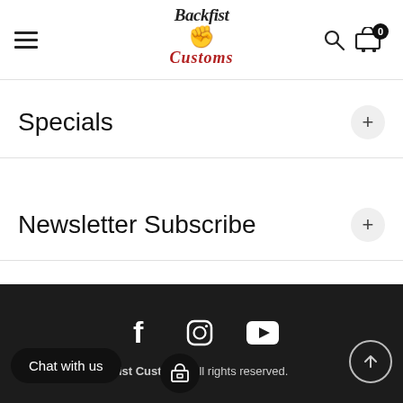[Figure (logo): Backfist Customs logo with stylized text and fist graphic in center of header]
Specials
Newsletter Subscribe
[Figure (infographic): Footer with Facebook, Instagram, and YouTube social media icons on dark background]
Backfist Customs. All rights reserved.
[Figure (other): Chat with us button and store icon badge in bottom left; back to top arrow button in bottom right]